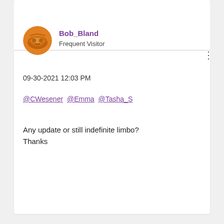Bob_Bland
Frequent Visitor
09-30-2021 12:03 PM
@CWesener @Emma @Tasha_S
Any update or still indefinite limbo?
Thanks